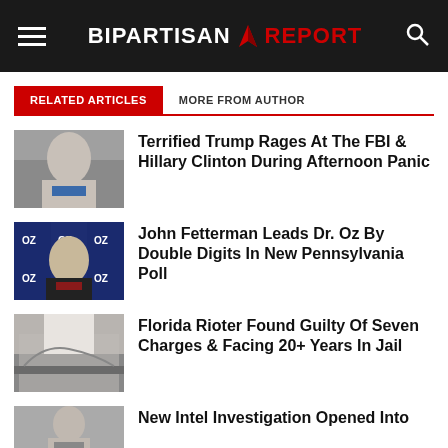BIPARTISAN REPORT
RELATED ARTICLES
MORE FROM AUTHOR
Terrified Trump Rages At The FBI & Hillary Clinton During Afternoon Panic
John Fetterman Leads Dr. Oz By Double Digits In New Pennsylvania Poll
Florida Rioter Found Guilty Of Seven Charges & Facing 20+ Years In Jail
New Intel Investigation Opened Into